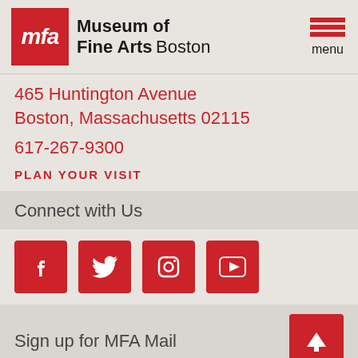Museum of Fine Arts Boston — menu
465 Huntington Avenue
Boston, Massachusetts 02115
617-267-9300
PLAN YOUR VISIT
Connect with Us
[Figure (infographic): Four red square social media icons: Facebook, Twitter, Instagram, YouTube]
Sign up for MFA Mail
Get updates on events at the MFA...